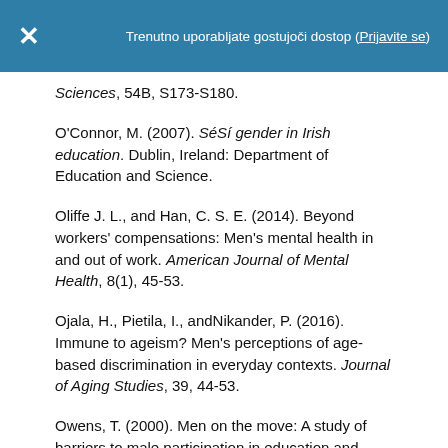Trenutno uporabljate gostujoči dostop (Prijavite se)
Sciences, 54B, S173-S180.
O'Connor, M. (2007). SéSí gender in Irish education. Dublin, Ireland: Department of Education and Science.
Oliffe J. L., and Han, C. S. E. (2014). Beyond workers' compensations: Men's mental health in and out of work. American Journal of Mental Health, 8(1), 45-53.
Ojala, H., Pietila, I., andNikander, P. (2016). Immune to ageism? Men's perceptions of age-based discrimination in everyday contexts. Journal of Aging Studies, 39, 44-53.
Owens, T. (2000). Men on the move: A study of barriers to male participation in education and training initiatives. Dublin, Ireland: AONTAS.
Paúl, C., and Ribeiro, O. (2009). Predicting loneliness in old people living in the community. Reviews in Clinical